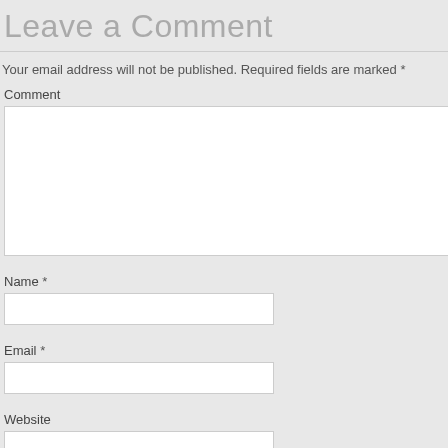Leave a Comment
Your email address will not be published. Required fields are marked *
Comment
[Figure (other): Large comment text area input field]
Name *
[Figure (other): Name text input field]
Email *
[Figure (other): Email text input field]
Website
[Figure (other): Website text input field]